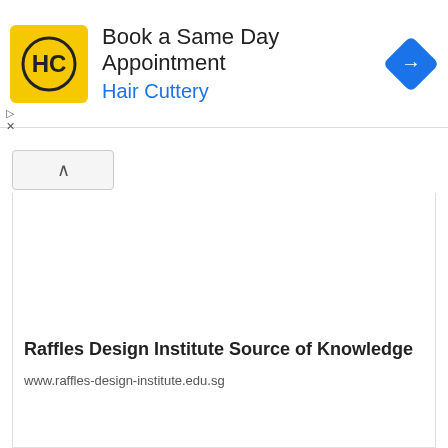[Figure (screenshot): Advertisement banner for Hair Cuttery with yellow HC logo, text 'Book a Same Day Appointment' and 'Hair Cuttery' in blue, and a blue diamond navigation icon on the right]
Raffles Design Institute Source of Knowledge
www.raffles-design-institute.edu.sg